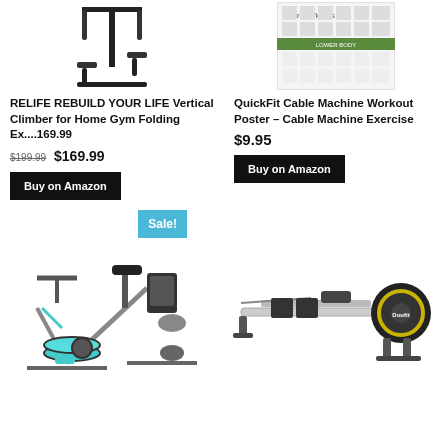[Figure (photo): RELIFE REBUILD YOUR LIFE Vertical Climber for Home Gym product image]
RELIFE REBUILD YOUR LIFE Vertical Climber for Home Gym Folding Ex....169.99
$199.99 $169.99
Buy on Amazon
[Figure (photo): QuickFit Cable Machine Workout Poster showing exercise illustrations]
QuickFit Cable Machine Workout Poster – Cable Machine Exercise
$9.95
Buy on Amazon
[Figure (photo): Folding exercise bike with Sale! badge - grey and teal stationary bike]
[Figure (photo): Rowing machine - black magnetic rower with yellow accent]